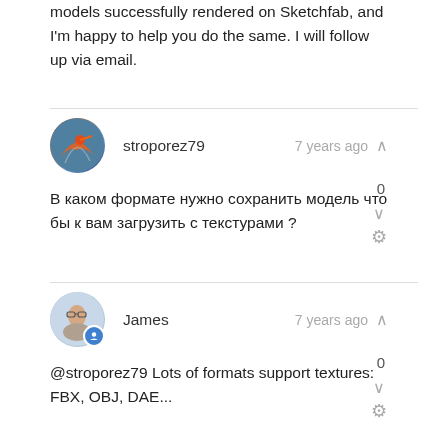models successfully rendered on Sketchfab, and I'm happy to help you do the same. I will follow up via email.
stroporez79 · 7 years ago
В каком формате нужно сохранить модель что бы к вам загрузить с текстурами ?
James · 7 years ago
@stroporez79 Lots of formats support textures: FBX, OBJ, DAE...